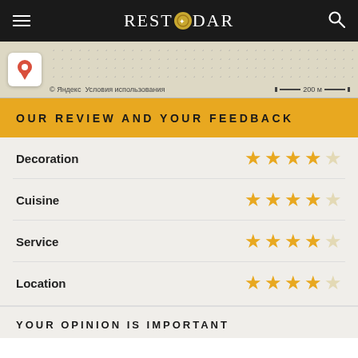REST●DAR (logo)
[Figure (map): Map snippet with location pin, dotted background, Yandex attribution and 200m scale bar]
OUR REVIEW AND YOUR FEEDBACK
Decoration — 4 out of 5 stars
Cuisine — 4 out of 5 stars
Service — 4 out of 5 stars
Location — 4 out of 5 stars
YOUR OPINION IS IMPORTANT